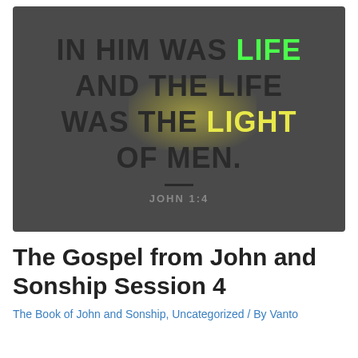[Figure (illustration): Dark gray background image with large bold text quoting John 1:4: 'IN HIM WAS LIFE AND THE LIFE WAS THE LIGHT OF MEN.' The word LIFE is highlighted in bright green, and LIGHT is highlighted in bright yellow with a glowing yellow radial effect behind it. A short horizontal rule separates the verse from the reference 'JOHN 1:4' shown in gray below.]
The Gospel from John and Sonship Session 4
The Book of John and Sonship, Uncategorized / By Vanto